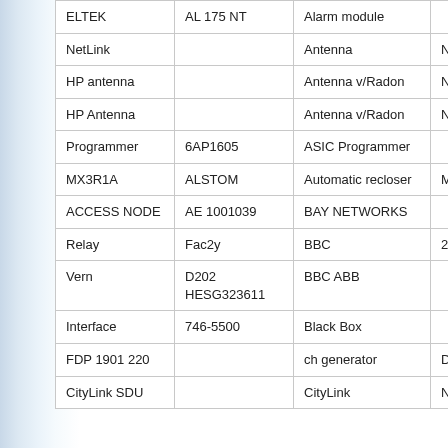| Name | Model | Manufacturer/Type | Details |
| --- | --- | --- | --- |
| ELTEK | AL 175 NT | Alarm module |  |
| NetLink |  | Antenna | NERA - 60 c |
| HP antenna |  | Antenna v/Radon | NERA 18GH |
| HP Antenna |  | Antenna v/Radon | NERA 18GH |
| Programmer | 6AP1605 | ASIC Programmer |  |
| MX3R1A | ALSTOM | Automatic recloser | MX3R1A.12 |
| ACCESS NODE | AE 1001039 | BAY NETWORKS |  |
| Relay | Fac2y | BBC | 220V DC |
| Vern | D202 HESG323611 | BBC ABB |  |
| Interface | 746-5500 | Black Box |  |
| FDP 1901 220 |  | ch generator | Dupline - Ch generator |
| CityLink SDU |  | CityLink | NERA 19... |